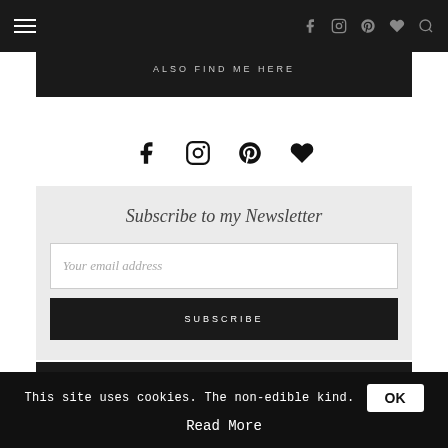[Figure (screenshot): Navigation bar with hamburger menu on left and social/search icons on right (Facebook, Instagram, Pinterest, heart, search) on dark background]
ALSO FIND ME HERE
[Figure (infographic): Social media icons row: Facebook, Instagram, Pinterest, heart/Bloglovin icons in black]
Subscribe to my Newsletter
Your email address
SUBSCRIBE
This site uses cookies. The non-edible kind.
Read More